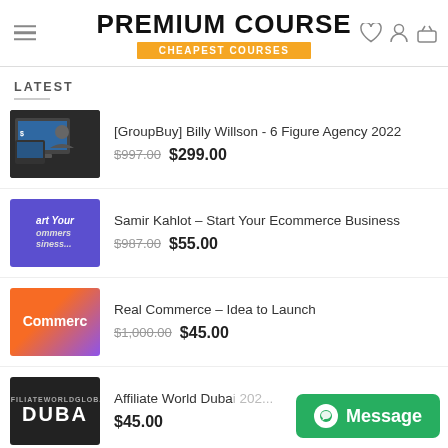PREMIUM COURSE — CHEAPEST COURSES
LATEST
[GroupBuy] Billy Willson - 6 Figure Agency 2022 — $997.00 $299.00
Samir Kahlot – Start Your Ecommerce Business — $987.00 $55.00
Real Commerce – Idea to Launch — $1,000.00 $45.00
Affiliate World Dubai 202... — $45.00